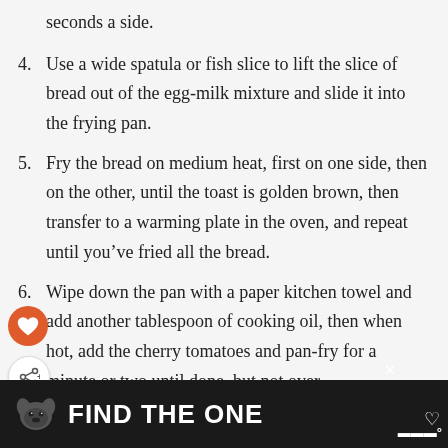seconds a side.
4. Use a wide spatula or fish slice to lift the slice of bread out of the egg-milk mixture and slide it into the frying pan.
5. Fry the bread on medium heat, first on one side, then on the other, until the toast is golden brown, then transfer to a warming plate in the oven, and repeat until you’ve fried all the bread.
6. Wipe down the pan with a paper kitchen towel and add another tablespoon of cooking oil, then when hot, add the cherry tomatoes and pan-fry for a minute or two until done, but not over-
[Figure (other): Advertisement banner with a dog image and text FIND THE ONE, on a dark background]